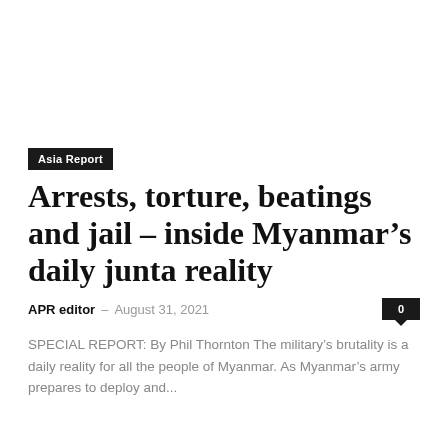Asia Report
Arrests, torture, beatings and jail – inside Myanmar’s daily junta reality
APR editor – August 31, 2021
SPECIAL REPORT: By Phil Thornton The military’s brutality is a daily reality for all the people of Myanmar. As Myanmar’s army prepares to deploy and...